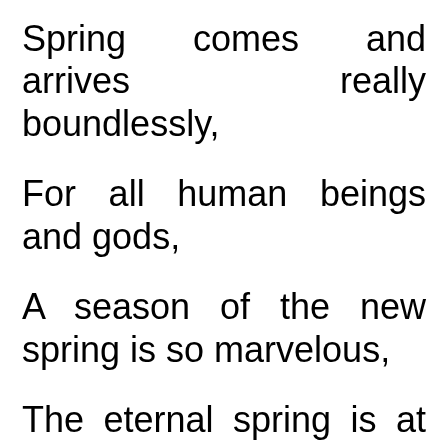Spring comes and arrives really boundlessly,
For all human beings and gods,
A season of the new spring is so marvelous,
The eternal spring is at the place of meditation,